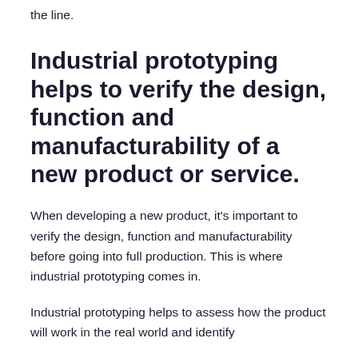the line.
Industrial prototyping helps to verify the design, function and manufacturability of a new product or service.
When developing a new product, it's important to verify the design, function and manufacturability before going into full production. This is where industrial prototyping comes in.
Industrial prototyping helps to assess how the product will work in the real world and identify